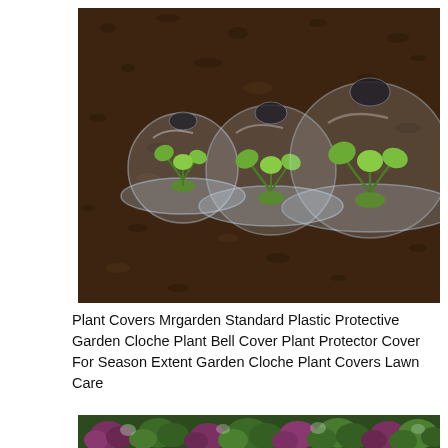[Figure (photo): Three transparent plastic garden cloches (bell covers) of increasing size placed on dark soil, each covering a small green seedling. Viewed from above.]
Plant Covers Mrgarden Standard Plastic Protective Garden Cloche Plant Bell Cover Plant Protector Cover For Season Extent Garden Cloche Plant Covers Lawn Care
[Figure (photo): Garden bed with various leafy plants including purple and green colored low-growing plants, partially visible at bottom of page.]